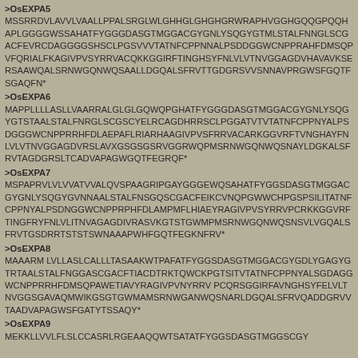>OsEXPA5
MSSRRDVLAVVLVAALLPPALSRGLWLGHHGLGHGHGRWRAPHVGGHGQGPQQHAPLGGGGWSSAHATFYGGGDASGTMGGACGYGNLYSQGYGTMALSTALFNNGLSCGACFEVRCDAGGGGSHSCLPGSVVVTATNFCPPNNALPSDDGGWCNPPRAHFDMSQPVFQRIALFKAGIVPVSYRRVACQKKGGIRFTINGHSYFNLVLVTNVGGAGDVHAVAVKSERSAAWQALSRNWGQNWQSAALLDGQALSFRVTTGDGRSVVSNNAVPRGWSFGQTFSGAQFN*
>OsEXPA6
MAPPLLLLASLLLVAARRALGLGLGQWQPGHATFYGGGDASGTMGGACGYGNLYSQGYGTSTAALSTALFNRGLSCGSCYELRCAGDHRRSCLPGGATVTVTATNFCPPNYALPSDGGGWCNPPRRHFDLAEPAFLRIARHAAGIVPVSFRRVACARKGGVRFTVNGHAYFNLVLVTNVGGAGDVRSLAVXGSGSGSRVGGRWQPMSRNWGQNWQSNAYLDGKALSFRVTAGDGRSLTCADVAPAGWGQTFEGRQF*
>OsEXPA7
MSPAPRVLVLVVATVVALQVSPAAGRIPGAYGGGEWQSAHATFYGGSDASGTMGGACGYGNLYSQGYGVNNAALSTALFNSGQSCGACFEIKCVNQPGWWCHPGSPSILITATNFCPPNYALPSDNGGWCNPPRPHFDLAMPMFLHIAEYRAGIVPVSYRRVPCRKKGGVRFTINGFRYFNLVLITNVAGAGDIVRASVKGTSTGWMPMSRNWGQNWQSNSVLVGQALSFRVTGSDRRTSTSWNAAPWHFGQTFEGKNFRV*
>OsEXPA8
MAAARM LVLLASLCALLLTASAAKWTPAFATFYGGSDASGTMGGACGYGDLYGAGYGTRTAALSTALFNGGASCGACFTIACDTRKTQWCKPGTSITVTATNFCPPNYALSGDAGGWCNPPRRHFDMSQPAWETIAVYRAGIVPVNYRRVPCQRSGGIRFAVNGHSYFELVLTNVGGSGAVAQMWIKGSGTGWMAMSRMWGANWQSNARLDGQALSFRVQADDGRVVTAADVAPAGWSFGATYTSSAQY*
>OsEXPA9
MEKKLLVVLFLSLCCASRLRGEAAQQWTSATATFYGGSDASGTMGGSCGY